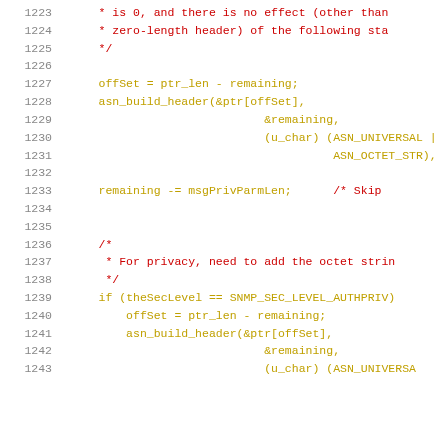Code listing lines 1223-1243, C source code with comments and function calls